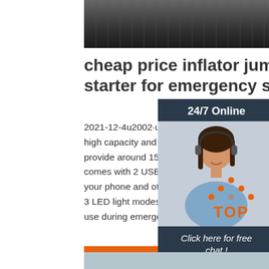[Figure (photo): Product photo of a black jump starter / inflator device, shown at the top of the page]
cheap price inflator jump starter for emergency sta...
2021-12-4u2002·u2002This jump starter h... high capacity and a peak current of 400A t... provide around 15 jump starts for your veh... comes with 2 USB ports so that you can c... your phone and other devices. This unit al... 3 LED light modes for working at night and... use during emergency situations.
[Figure (photo): 24/7 Online chat widget with photo of a smiling woman wearing a headset, dark navy background, 'Click here for free chat!' text and orange QUOTATION button]
[Figure (illustration): Orange 'TOP' button with dotted triangle arrow pointing upward]
[Figure (photo): Light blue-grey strip at the bottom of the page]